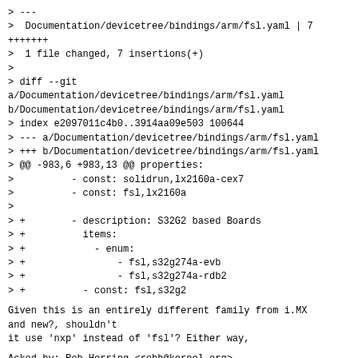> ---
>  Documentation/devicetree/bindings/arm/fsl.yaml | 7
+++++++
>  1 file changed, 7 insertions(+)
>
> diff --git
a/Documentation/devicetree/bindings/arm/fsl.yaml
b/Documentation/devicetree/bindings/arm/fsl.yaml
> index e2097011c4b0..3914aa09e503 100644
> --- a/Documentation/devicetree/bindings/arm/fsl.yaml
> +++ b/Documentation/devicetree/bindings/arm/fsl.yaml
> @@ -983,6 +983,13 @@ properties:
>          - const: solidrun,lx2160a-cex7
>          - const: fsl,lx2160a
>
> +        - description: S32G2 based Boards
> +          items:
> +            - enum:
> +                - fsl,s32g274a-evb
> +                - fsl,s32g274a-rdb2
> +          - const: fsl,s32g2
Given this is an entirely different family from i.MX
and new?, shouldn't
it use 'nxp' instead of 'fsl'? Either way,
Acked-by: Rob Herring <robh@kernel.org>
Rob